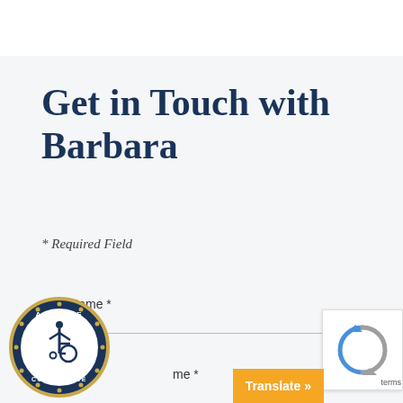Get in Touch with Barbara
* Required Field
First Name *
me *
[Figure (logo): ADA Site Compliance badge with wheelchair accessibility icon, circular navy blue and gold border]
[Figure (logo): reCAPTCHA logo icon in blue and grey]
Translate »
terms